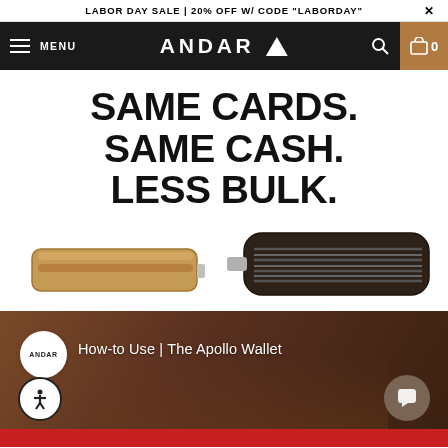LABOR DAY SALE | 20% OFF W/ CODE "LABORDAY"  ✕
MENU  ANDAR  🔍  0
SAME CARDS.
SAME CASH.
LESS BULK.
[Figure (photo): Two wallets side by side: a slim tan/brown leather wallet on the left and a bulging overstuffed dark brown wallet on the right, shown closed from the side to illustrate the difference in bulk.]
[Figure (screenshot): Video thumbnail for 'How-to Use | The Apollo Wallet' featuring the Andar logo badge in a white circle, with a person's hands handling a wallet in the background, an accessibility icon button on the bottom left, and a chat icon button on the bottom right.]